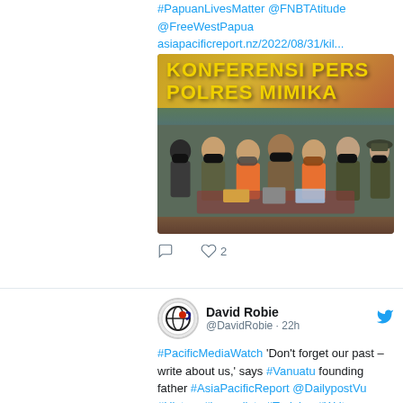#PapuanLivesMatter @FNBTAtitude @FreeWestPapua asiapacificreport.nz/2022/08/31/kil...
[Figure (photo): Photo of a police press conference with banner reading 'KONFERENSI PERS POLRES MIMIKA'. Several people in masks and orange detainee clothing are visible along with police officers.]
David Robie @DavidRobie · 22h
#PacificMediaWatch 'Don't forget our past – write about us,' says #Vanuatu founding father #AsiaPacificReport @DailypostVu #History #journalists #Training #Writers #storytelling asiapacificreport.nz/2022/08/30/don...